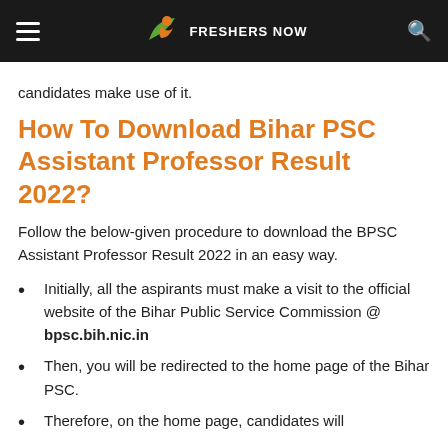FRESHERS NOW
candidates make use of it.
How To Download Bihar PSC Assistant Professor Result 2022?
Follow the below-given procedure to download the BPSC Assistant Professor Result 2022 in an easy way.
Initially, all the aspirants must make a visit to the official website of the Bihar Public Service Commission @ bpsc.bih.nic.in
Then, you will be redirected to the home page of the Bihar PSC.
Therefore, on the home page, candidates will